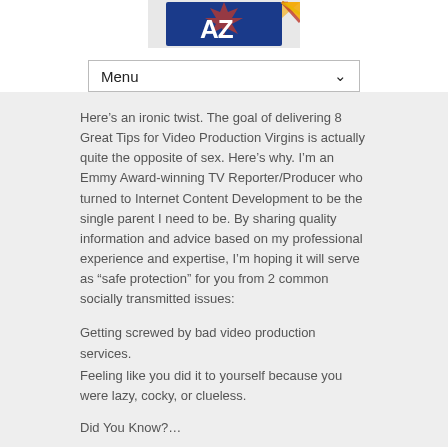[Figure (logo): Arizona AZ logo with state flag colors — blue with 'AZ' text and orange/red/yellow star burst]
[Figure (screenshot): Menu dropdown navigation bar with 'Menu' text and a down-arrow chevron]
Here’s an ironic twist. The goal of delivering 8 Great Tips for Video Production Virgins is actually quite the opposite of sex. Here’s why. I’m an Emmy Award-winning TV Reporter/Producer who turned to Internet Content Development to be the single parent I need to be. By sharing quality information and advice based on my professional experience and expertise, I’m hoping it will serve as “safe protection” for you from 2 common socially transmitted issues:
Getting screwed by bad video production services.
Feeling like you did it to yourself because you were lazy, cocky, or clueless.
Did You Know?...